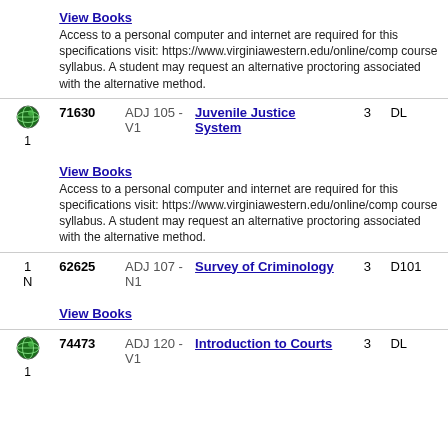View Books
Access to a personal computer and internet are required for this specifications visit: https://www.virginiawestern.edu/online/comp course syllabus. A student may request an alternative proctoring associated with the alternative method.
|  | CRN | Section | Course Title | Credits | Room |
| --- | --- | --- | --- | --- | --- |
| 1 | 71630 | ADJ 105 - V1 | Juvenile Justice System | 3 | DL |
| 1 N | 62625 | ADJ 107 - N1 | Survey of Criminology | 3 | D101 |
| 1 | 74473 | ADJ 120 - V1 | Introduction to Courts | 3 | DL |
View Books
Access to a personal computer and internet are required for this specifications visit: https://www.virginiawestern.edu/online/comp course syllabus. A student may request an alternative proctoring associated with the alternative method.
View Books